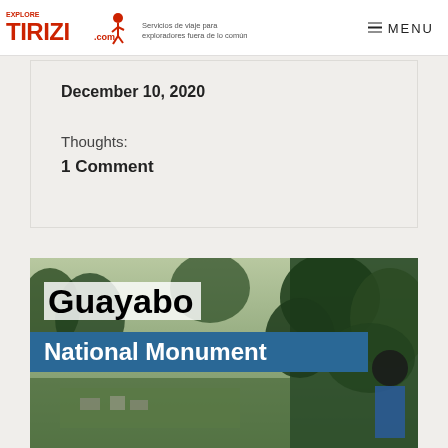EXPLORE TIRIZI.com — Servicios de viaje para exploradores fuera de lo común | MENU
December 10, 2020
Thoughts:
1 Comment
[Figure (photo): Promotional image for Guayabo National Monument showing a person overlooking a lush green archaeological site with trees. Text overlay reads 'Guayabo' in large black bold text on white background, and 'National Monument' in white bold text on a blue diagonal banner.]